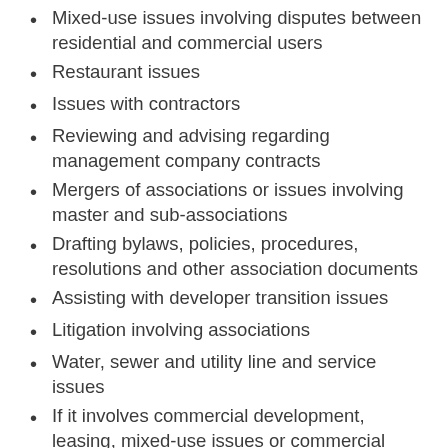Mixed-use issues involving disputes between residential and commercial users
Restaurant issues
Issues with contractors
Reviewing and advising regarding management company contracts
Mergers of associations or issues involving master and sub-associations
Drafting bylaws, policies, procedures, resolutions and other association documents
Assisting with developer transition issues
Litigation involving associations
Water, sewer and utility line and service issues
If it involves commercial development, leasing, mixed-use issues or commercial associations, we've probably seen it before and can help you